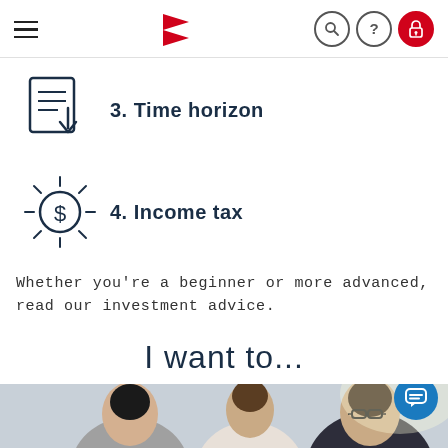Navigation bar with hamburger menu, red logo, search, help, and lock icons
3. Time horizon
[Figure (illustration): Icon of a document/list with a downward arrow, in dark navy blue outline style]
4. Income tax
[Figure (illustration): Icon of a lightbulb with a dollar sign inside, in dark navy blue outline style]
Whether you're a beginner or more advanced, read our investment advice.
I want to...
[Figure (photo): Photo of three people in a business meeting, two women and a man with glasses, partially visible at bottom of page]